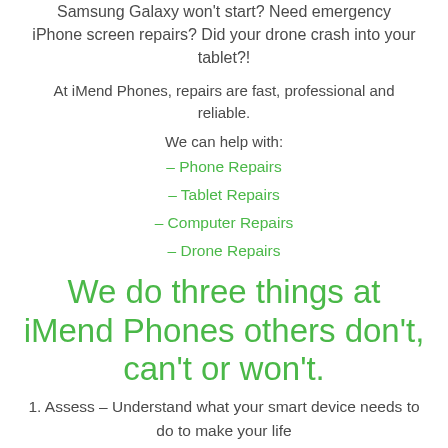Samsung Galaxy won't start? Need emergency iPhone screen repairs? Did your drone crash into your tablet?!
At iMend Phones, repairs are fast, professional and reliable.
We can help with:
– Phone Repairs
– Tablet Repairs
– Computer Repairs
– Drone Repairs
We do three things at iMend Phones others don't, can't or won't.
1. Assess – Understand what your smart device needs to do to make your life